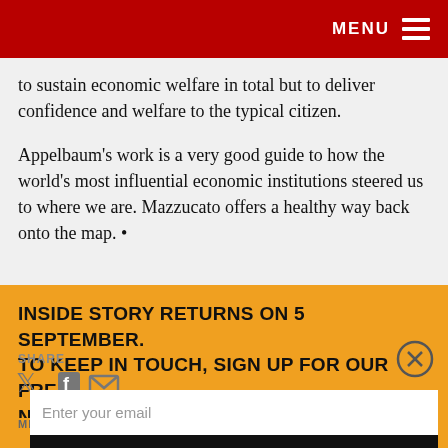MENU
to sustain economic welfare in total but to deliver confidence and welfare to the typical citizen.
Appelbaum’s work is a very good guide to how the world’s most influential economic institutions steered us to where we are. Mazzucato offers a healthy way back onto the map. •
INSIDE STORY RETURNS ON 5 SEPTEMBER. TO KEEP IN TOUCH, SIGN UP FOR OUR FREE NEWSLETTER…
SHARE
MICHAEL GILL
Enter your email
SUBSCRIBE